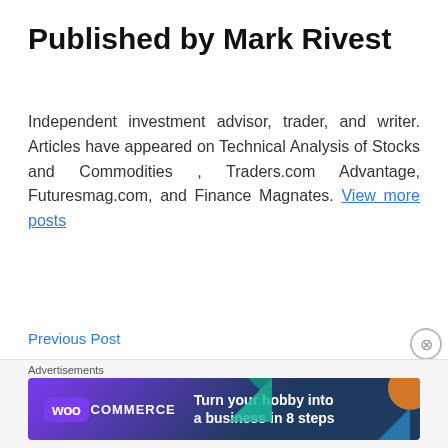Published by Mark Rivest
Independent investment advisor, trader, and writer. Articles have appeared on Technical Analysis of Stocks and Commodities , Traders.com Advantage, Futuresmag.com, and Finance Magnates. View more posts
Previous Post
Struggling to Rally
[Figure (other): WooCommerce advertisement banner: 'Turn your hobby into a business in 8 steps']
Advertisements